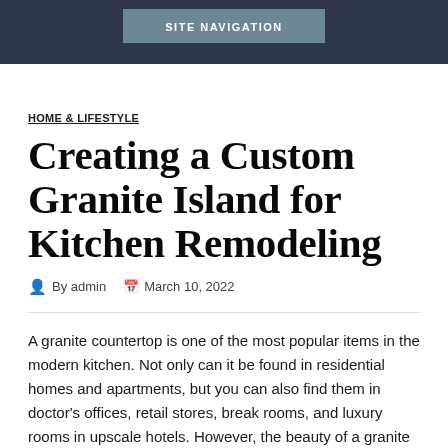SITE NAVIGATION
HOME & LIFESTYLE
Creating a Custom Granite Island for Kitchen Remodeling
By admin   March 10, 2022
A granite countertop is one of the most popular items in the modern kitchen. Not only can it be found in residential homes and apartments, but you can also find them in doctor's offices, retail stores, break rooms, and luxury rooms in upscale hotels. However, the beauty of a granite countertop does not stop with its durability. You should also be aware of its